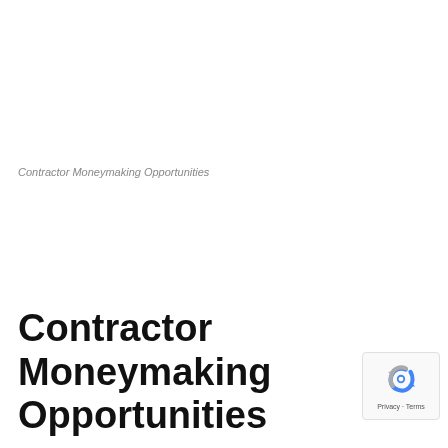Contractor Moneymaking Opportunities
Contractor Moneymaking Opportunities